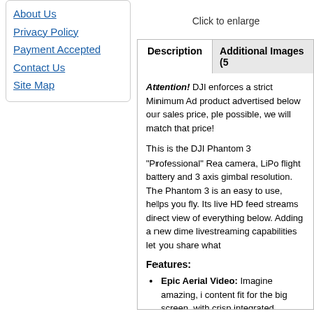About Us
Privacy Policy
Payment Accepted
Contact Us
Site Map
Click to enlarge
Description | Additional Images (5...
Attention! DJI enforces a strict Minimum Ad... product advertised below our sales price, ple... possible, we will match that price!
This is the DJI Phantom 3 "Professional" Rea... camera, LiPo flight battery and 3 axis gimbal... resolution. The Phantom 3 is an easy to use,... helps you fly. Its live HD feed streams direct... view of everything below. Adding a new dime... livestreaming capabilities let you share what...
Features:
Epic Aerial Video: Imagine amazing, i... content fit for the big screen, with crisp... integrated, stabilized camera, your Pha... Phantom 3 Professional, you're shootin... capturing 12 megapixel photos that loo...
Professional Lens: The Phantom 3 P...